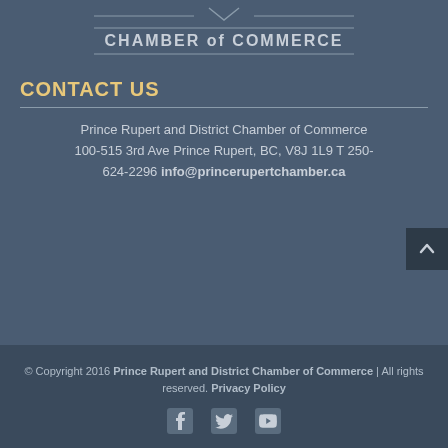[Figure (logo): Prince Rupert Chamber of Commerce logo text with horizontal lines above and below]
CONTACT US
Prince Rupert and District Chamber of Commerce 100-515 3rd Ave Prince Rupert, BC, V8J 1L9 T 250-624-2296 info@princerupertchamber.ca
© Copyright 2016 Prince Rupert and District Chamber of Commerce | All rights reserved. Privacy Policy